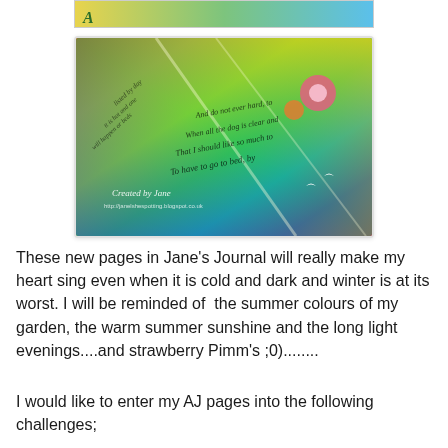[Figure (photo): Colorful art journal pages with handwritten script text in black on vibrant rainbow-colored background (yellow, green, blue, orange, red). Watermark reads 'Created by Jane' with URL http://janelshespotting.blogspot.co.uk]
These new pages in Jane's Journal will really make my heart sing even when it is cold and dark and winter is at its worst. I will be reminded of  the summer colours of my garden, the warm summer sunshine and the long light evenings....and strawberry Pimm's ;0)........
I would like to enter my AJ pages into the following challenges;